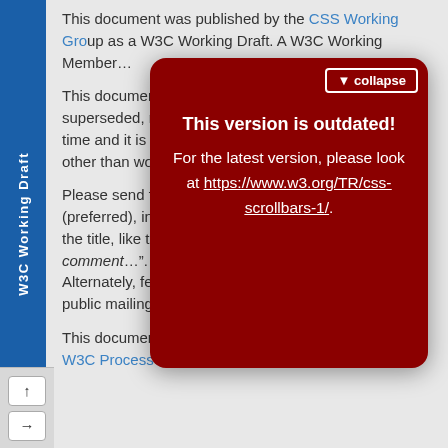This document was published by the CSS Working Group as a W3C Working Draft. A Working Draft is a document that W3C and its Members...
[Figure (infographic): Red rounded popup overlay with 'This version is outdated!' message and link to https://www.w3.org/TR/css-scrollbars-1/, with a collapse button in upper right]
Please send feedback by filing issues in GitHub (preferred), including the spec code “css-scrollbars” in the title, like this: “[css-scrollbars] …summary of comment…”. All issues and comments are archived. Alternately, feedback can be sent to the (archived) public mailing list www-style@w3.org.
This document is governed by the 15 September 2020 W3C Process Document.